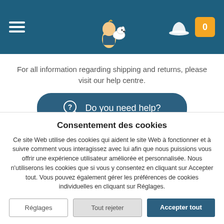[Figure (screenshot): Navigation header with teal/dark blue background. Left: hamburger menu icon (three white lines). Center: Tintin and Snowy cartoon logo. Right: white hat icon and orange cart badge showing '0'.]
For all information regarding shipping and returns, please visit our help centre.
[Figure (other): Dark teal rounded button with question mark icon and text 'Do you need help?']
Consentement des cookies
Ce site Web utilise des cookies qui aident le site Web à fonctionner et à suivre comment vous interagissez avec lui afin que nous puissions vous offrir une expérience utilisateur améliorée et personnalisée. Nous n'utiliserons les cookies que si vous y consentez en cliquant sur Accepter tout. Vous pouvez également gérer les préférences de cookies individuelles en cliquant sur Réglages.
Réglages    Tout rejeter    Accepter tout